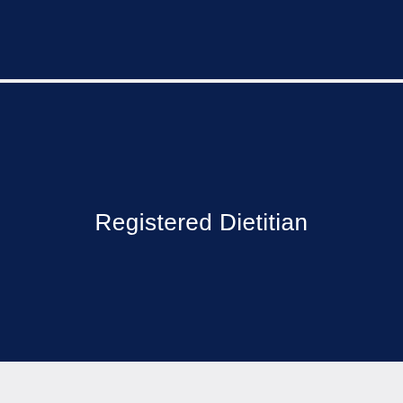[Figure (other): Dark navy blue header bar at the top of the page]
Registered Dietitian
[Figure (other): Light gray footer area at the bottom of the page]